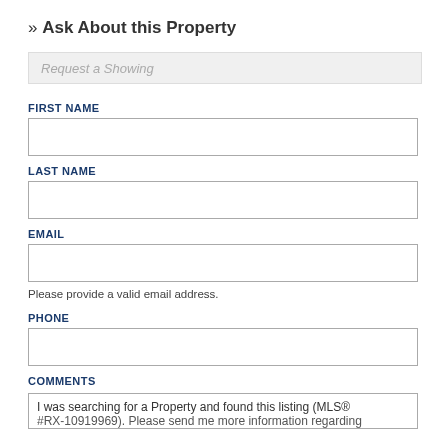» Ask About this Property
Request a Showing
FIRST NAME
LAST NAME
EMAIL
Please provide a valid email address.
PHONE
COMMENTS
I was searching for a Property and found this listing (MLS® #RX-10919969). Please send me more information regarding